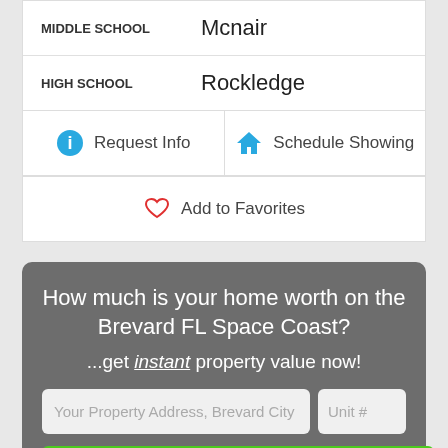| Field | Value |
| --- | --- |
| MIDDLE SCHOOL | Mcnair |
| HIGH SCHOOL | Rockledge |
Request Info
Schedule Showing
Add to Favorites
How much is your home worth on the Brevard FL Space Coast?
...get instant property value now!
Your Property Address, Brevard City | Unit #
Submit